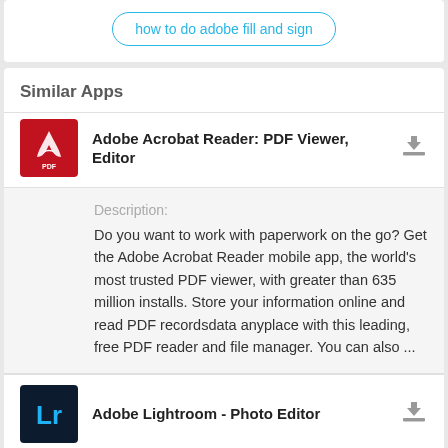how to do adobe fill and sign
Similar Apps
Adobe Acrobat Reader: PDF Viewer, Editor
Description: Do you want to work with paperwork on the go? Get the Adobe Acrobat Reader mobile app, the world's most trusted PDF viewer, with greater than 635 million installs. Store your information online and read PDF recordsdata anyplace with this leading, free PDF reader and file manager. You can also ...
Adobe Lightroom - Photo Editor